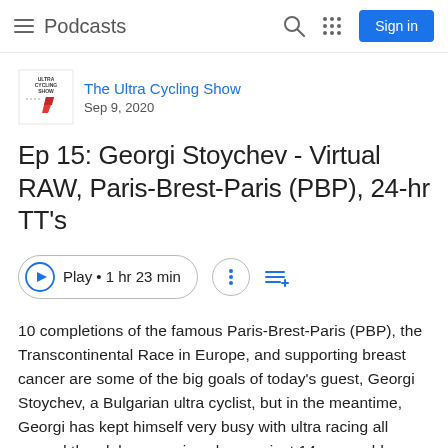≡ Podcasts  🔍  ⠿  Sign in
[Figure (logo): The Ultra Cycling Show podcast logo - small icon with red lightning bolt]
The Ultra Cycling Show
Sep 9, 2020
Ep 15: Georgi Stoychev - Virtual RAW, Paris-Brest-Paris (PBP), 24-hr TT's
Play • 1 hr 23 min
10 completions of the famous Paris-Brest-Paris (PBP), the Transcontinental Race in Europe, and supporting breast cancer are some of the big goals of today's guest, Georgi Stoychev, a Bulgarian ultra cyclist, but in the meantime, Georgi has kept himself very busy with ultra racing all around the globe ever since he was just 14 years old, participating in everything from 12- and 24-hour time trial races to 1200km brevets and the virtual Race Across the West. Buckle your belt